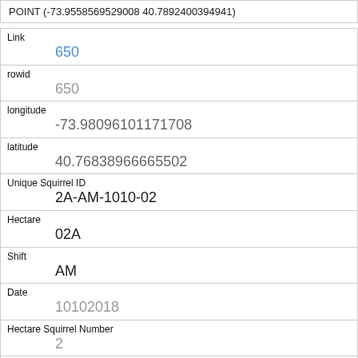POINT (-73.9558569529008 40.7892400394941)
| Field | Value |
| --- | --- |
| Link | 650 |
| rowid | 650 |
| longitude | -73.98096101171708 |
| latitude | 40.76838966665502 |
| Unique Squirrel ID | 2A-AM-1010-02 |
| Hectare | 02A |
| Shift | AM |
| Date | 10102018 |
| Hectare Squirrel Number | 2 |
| Age |  |